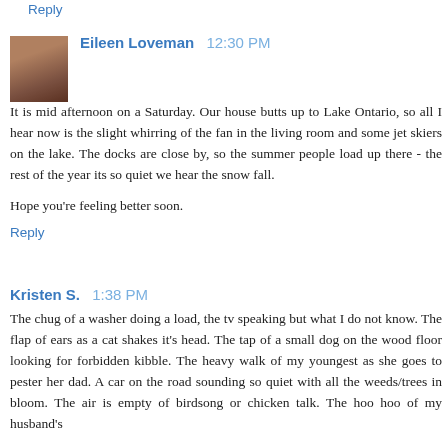Reply
Eileen Loveman 12:30 PM
It is mid afternoon on a Saturday. Our house butts up to Lake Ontario, so all I hear now is the slight whirring of the fan in the living room and some jet skiers on the lake. The docks are close by, so the summer people load up there - the rest of the year its so quiet we hear the snow fall.
Hope you're feeling better soon.
Reply
Kristen S. 1:38 PM
The chug of a washer doing a load, the tv speaking but what I do not know. The flap of ears as a cat shakes it's head. The tap of a small dog on the wood floor looking for forbidden kibble. The heavy walk of my youngest as she goes to pester her dad. A car on the road sounding so quiet with all the weeds/trees in bloom. The air is empty of birdsong or chicken talk. The hoo hoo of my husband's